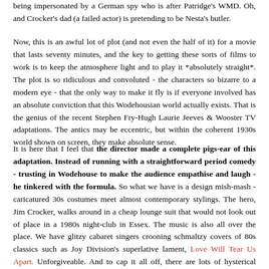being impersonated by a German spy who is after Patridge's WMD. Oh, and Crocker's dad (a failed actor) is pretending to be Nesta's butler.
Now, this is an awful lot of plot (and not even the half of it) for a movie that lasts seventy minutes, and the key to getting these sorts of films to work is to keep the atmosphere light and to play it *absolutely straight*. The plot is so ridiculous and convoluted - the characters so bizarre to a modern eye - that the only way to make it fly is if everyone involved has an absolute conviction that this Wodehousian world actually exists. That is the genius of the recent Stephen Fry-Hugh Laurie Jeeves & Wooster TV adaptations. The antics may be eccentric, but within the coherent 1930s world shown on screen, they make absolute sense.
It is here that I feel that the director made a complete pigs-ear of this adaptation. Instead of running with a straightforward period comedy - trusting in Wodehouse to make the audience empathise and laugh - he tinkered with the formula. So what we have is a design mish-mash - caricatured 30s costumes meet almost contemporary stylings. The hero, Jim Crocker, walks around in a cheap lounge suit that would not look out of place in a 1980s night-club in Essex. The music is also all over the place. We have glitzy cabaret singers crooning schmaltzy covers of 80s classics such as Joy Division's superlative lament, Love Will Tear Us Apart. Unforgiveable. And to cap it all off, there are lots of hysterical over-the-top performances by actors who should know better but have